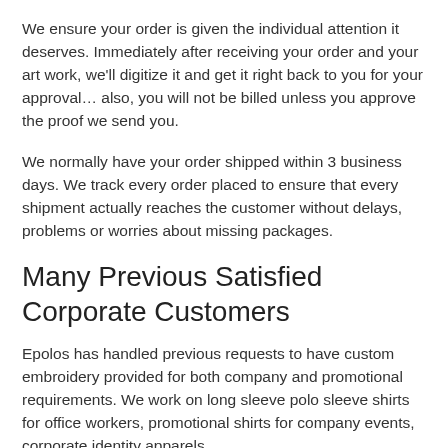We ensure your order is given the individual attention it deserves. Immediately after receiving your order and your art work, we'll digitize it and get it right back to you for your approval… also, you will not be billed unless you approve the proof we send you.
We normally have your order shipped within 3 business days. We track every order placed to ensure that every shipment actually reaches the customer without delays, problems or worries about missing packages.
Many Previous Satisfied Corporate Customers
Epolos has handled previous requests to have custom embroidery provided for both company and promotional requirements. We work on long sleeve polo sleeve shirts for office workers, promotional shirts for company events, corporate identity apparels